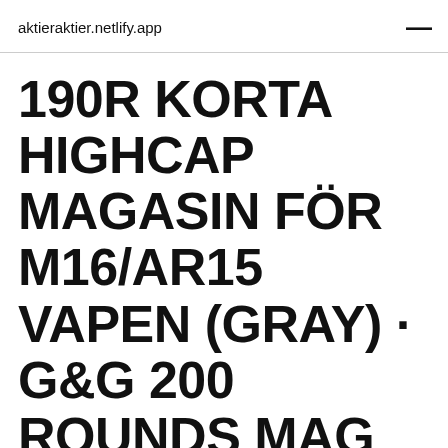aktieraktier.netlify.app
190R KORTA HIGHCAP MAGASIN FÖR M16/AR15 VAPEN (GRAY) · G&G 200 ROUNDS MAG FOR MP5 · G&G 250R HI…